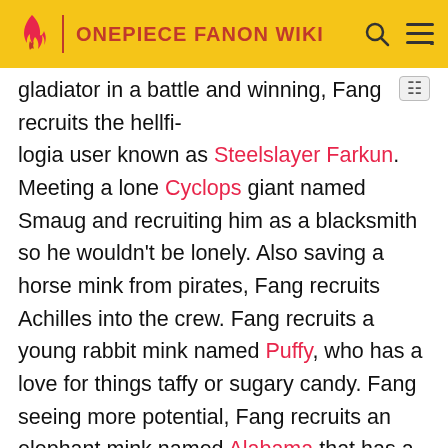ONEPIECE FANON WIKI
gladiator in a battle and winning, Fang recruits the hellfire logia user known as Steelslayer Farkun. Meeting a lone Cyclops giant named Smaug and recruiting him as a blacksmith so he wouldn't be lonely. Also saving a horse mink from pirates, Fang recruits Achilles into the crew. Fang recruits a young rabbit mink named Puffy, who has a love for things taffy or sugary candy. Fang seeing more potential, Fang recruits an elephant mink named Alabama that has a deadly rage along with swordsmanship skills. Fang also gains a strange duo of a survivalist and a sniper named Bear Grylls and Jian Lambo. Coming from Alabasta, Fang recruits the walrus mink named Burbridge Patrick into his crew as a cook. Meeting up with a tribe of fishmen, Fang recruits a whale fishman named Herman